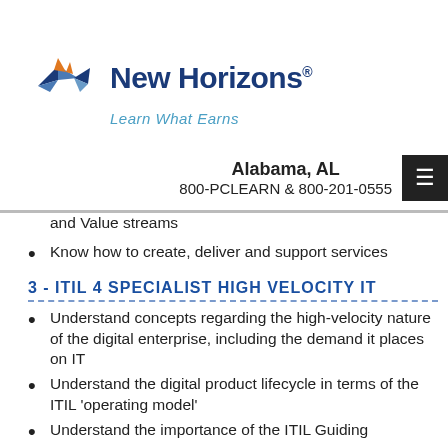[Figure (logo): New Horizons logo with tagline 'Learn What Earns']
Alabama, AL
800-PCLEARN  & 800-201-0555
and Value streams
Know how to create, deliver and support services
3 - ITIL 4 SPECIALIST HIGH VELOCITY IT
Understand concepts regarding the high-velocity nature of the digital enterprise, including the demand it places on IT
Understand the digital product lifecycle in terms of the ITIL 'operating model'
Understand the importance of the ITIL Guiding